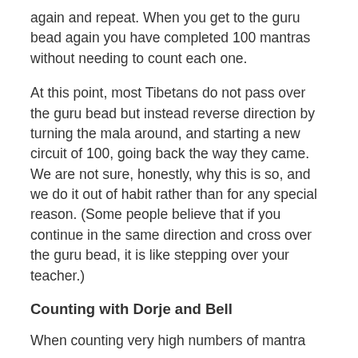again and repeat. When you get to the guru bead again you have completed 100 mantras without needing to count each one.
At this point, most Tibetans do not pass over the guru bead but instead reverse direction by turning the mala around, and starting a new circuit of 100, going back the way they came. We are not sure, honestly, why this is so, and we do it out of habit rather than for any special reason. (Some people believe that if you continue in the same direction and cross over the guru bead, it is like stepping over your teacher.)
Counting with Dorje and Bell
When counting very high numbers of mantra